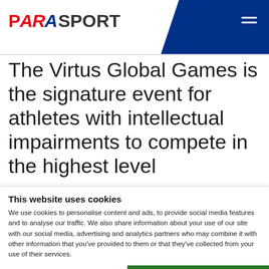[Figure (logo): Parasport logo with red and blue P and SPORT text, followed by blue diagonal header shape with hamburger menu icon]
The Virtus Global Games is the signature event for athletes with intellectual impairments to compete in the highest level
This website uses cookies
We use cookies to personalise content and ads, to provide social media features and to analyse our traffic. We also share information about your use of our site with our social media, advertising and analytics partners who may combine it with other information that you've provided to them or that they've collected from your use of their services.
Allow all cookies
Allow selection
Use necessary cookies only
held in Vichy, France from 4-10 Se
2023.
Necessary   Preferences   Statistics   Marketing   Show details